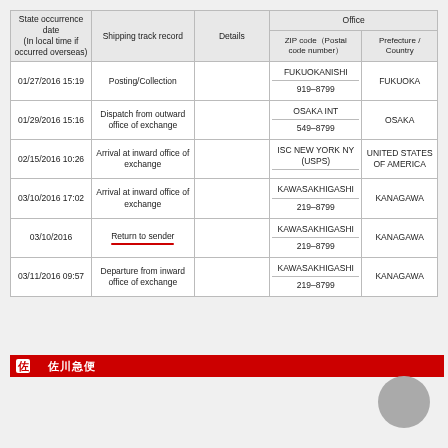| State occurrence date (In local time if occurred overseas) | Shipping track record | Details | Office / ZIP code (Postal code number) | Prefecture / Country |
| --- | --- | --- | --- | --- |
| 01/27/2016 15:19 | Posting/Collection |  | FUKUOKANISHI / 919-8799 | FUKUOKA |
| 01/29/2016 15:16 | Dispatch from outward office of exchange |  | OSAKA INT / 549-8799 | OSAKA |
| 02/15/2016 10:26 | Arrival at inward office of exchange |  | ISC NEW YORK NY (USPS) | UNITED STATES OF AMERICA |
| 03/10/2016 17:02 | Arrival at inward office of exchange |  | KAWASAKHIGASHI / 219-8799 | KANAGAWA |
| 03/10/2016 | Return to sender |  | KAWASAKHIGASHI / 219-8799 | KANAGAWA |
| 03/11/2016 09:57 | Departure from inward office of exchange |  | KAWASAKHIGASHI / 219-8799 | KANAGAWA |